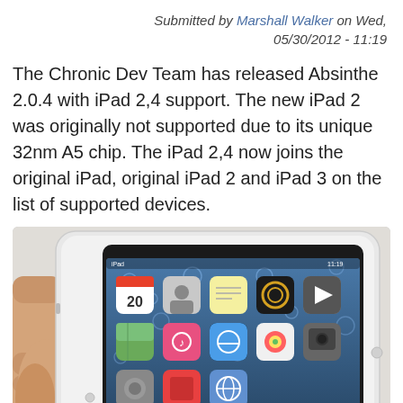Submitted by Marshall Walker on Wed, 05/30/2012 - 11:19
The Chronic Dev Team has released Absinthe 2.0.4 with iPad 2,4 support. The new iPad 2 was originally not supported due to its unique 32nm A5 chip. The iPad 2,4 now joins the original iPad, original iPad 2 and iPad 3 on the list of supported devices.
[Figure (photo): A hand holding a white iPad 2 showing the home screen with various app icons on a water droplet background wallpaper.]